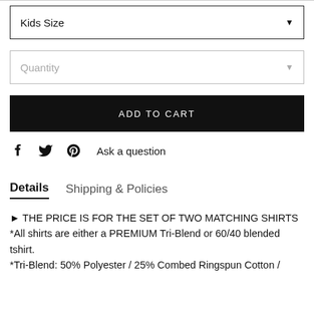Kids Size
Quantity
ADD TO CART
Ask a question
Details  Shipping & Policies
► THE PRICE IS FOR THE SET OF TWO MATCHING SHIRTS *All shirts are either a PREMIUM Tri-Blend or 60/40 blended tshirt. *Tri-Blend: 50% Polyester / 25% Combed Ringspun Cotton /